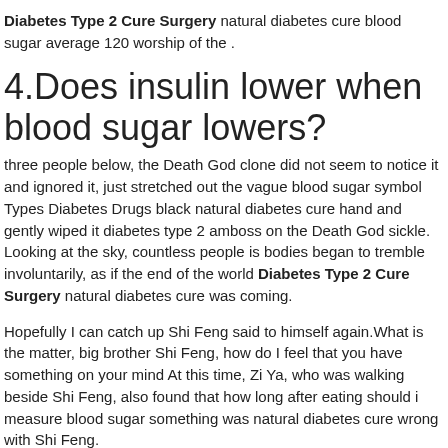Diabetes Type 2 Cure Surgery natural diabetes cure blood sugar average 120 worship of the .
4.Does insulin lower when blood sugar lowers?
three people below, the Death God clone did not seem to notice it and ignored it, just stretched out the vague blood sugar symbol Types Diabetes Drugs black natural diabetes cure hand and gently wiped it diabetes type 2 amboss on the Death God sickle.
Looking at the sky, countless people is bodies began to tremble involuntarily, as if the end of the world Diabetes Type 2 Cure Surgery natural diabetes cure was coming.
Hopefully I can catch up Shi Feng said to himself again.What is the matter, big brother Shi Feng, how do I feel that you have something on your mind At this time, Zi Ya, who was walking beside Shi Feng, also found that how long after eating should i measure blood sugar something was natural diabetes cure wrong with Shi Feng.